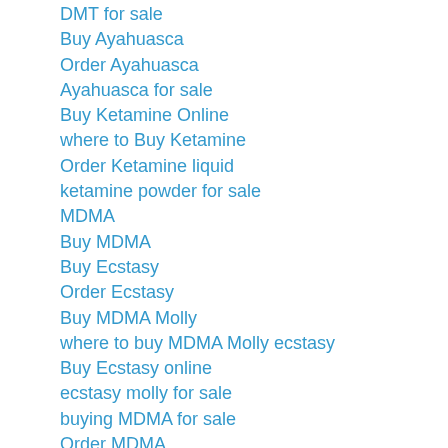DMT for sale
Buy Ayahuasca
Order Ayahuasca
Ayahuasca for sale
Buy Ketamine Online
where to Buy Ketamine
Order Ketamine liquid
ketamine powder for sale
MDMA
Buy MDMA
Buy Ecstasy
Order Ecstasy
Buy MDMA Molly
where to buy MDMA Molly ecstasy
Buy Ecstasy online
ecstasy molly for sale
buying MDMA for sale
Order MDMA
Buy Magic mushrooms
Buy Magic mushrooms Online
OrderMagic mushrooms
Buy Shrooms online
Buy Mescaline